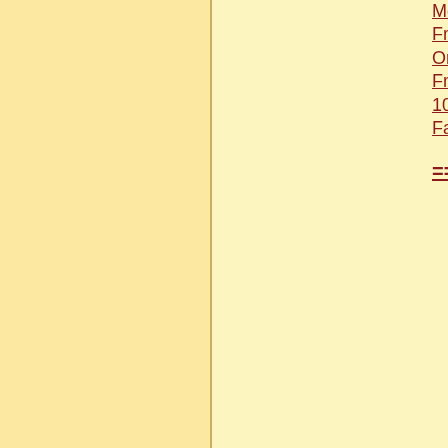Most Qualified Experts!
Free Airmail!
Online Suport 365/24/7!
Free insurance!
10% discount for all next orders!
Fast &amp; Guaranteed worldwide Del...
==| ENTER ON THE LINK TO SEE FU...